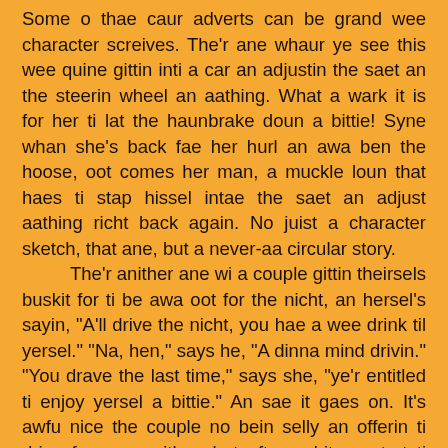Some o thae caur adverts can be grand wee character screives. The'r ane whaur ye see this wee quine gittin inti a car an adjustin the saet an the steerin wheel an aathing. What a wark it is for her ti lat the haunbrake doun a bittie! Syne whan she's back fae her hurl an awa ben the hoose, oot comes her man, a muckle loun that haes ti stap hissel intae the saet an adjust aathing richt back again. No juist a character sketch, that ane, but a never-aa circular story.

The'r anither ane wi a couple gittin theirsels buskit for ti be awa oot for the nicht, an hersel's sayin, "A'll drive the nicht, you hae a wee drink til yersel." "Na, hen," says he, "A dinna mind drivin." "You drave the last time," says she, "ye'r entitled ti enjoy yersel a bittie." An sae it gaes on. It's awfu nice the couple no bein selly an offerin ti drive for ane anither, but efter a bit ye start ti wonder what wey they'r gittin theirsels in sic a tirrivee ower it. Syne wi a fair skeely application o Aristotlean inversion ye see the caur staunin ootby an jalouze hou it's a caur advert an the hale ettle o the argle-bargle in the hoose gaes tapsowerteerie.

The'r a hale genre o adverts like this whaur